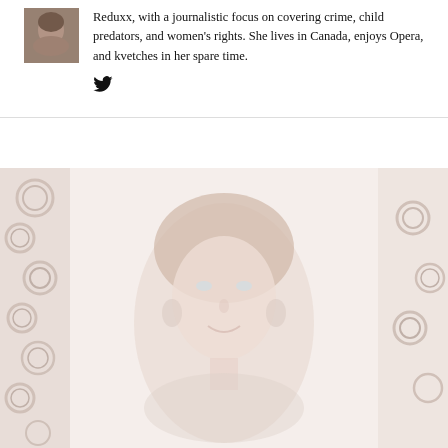Reduxx, with a journalistic focus on covering crime, child predators, and women's rights. She lives in Canada, enjoys Opera, and kvetches in her spare time.
[Figure (photo): Author headshot photo, small square image of a woman]
[Figure (photo): Large faded portrait photo of a woman with decorative background, very light/washed out pink tones]